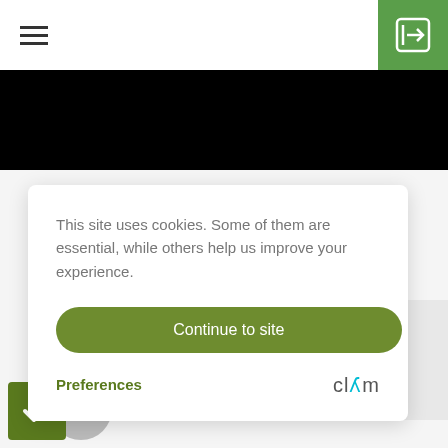[Figure (screenshot): Navigation bar with hamburger menu icon on the left and green login button with arrow icon on the right]
[Figure (screenshot): Black horizontal banner/hero section]
This site uses cookies. Some of them are essential, while others help us improve your experience.
Continue to site
Preferences
[Figure (logo): Clym logo in gray text]
[Figure (logo): Wantent logo in dark navy blue large text with green check badge and gray play circle button]